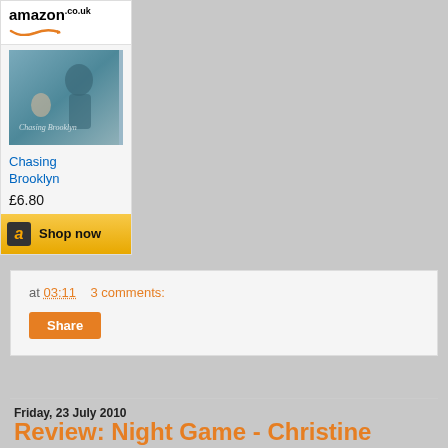[Figure (other): Amazon.co.uk advertisement widget showing book 'Chasing Brooklyn' with cover image, price £6.80, and a 'Shop now' button with Amazon logo]
at 03:11   3 comments:
Share
Friday, 23 July 2010
Review: Night Game - Christine Feehan